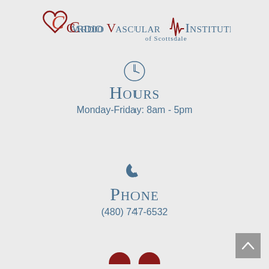[Figure (logo): CardioVascular Institute of Scottsdale logo with heart and ECG line motif]
[Figure (other): Clock icon (circle with clock hands)]
Hours
Monday-Friday: 8am - 5pm
[Figure (other): Phone handset icon]
Phone
(480) 747-6532
[Figure (other): Scroll-to-top button (grey square with upward chevron) and partial social media icons at bottom]